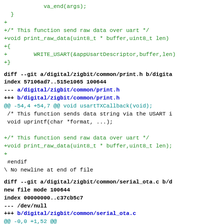va_end(args);
  }
+
+/* This function send raw data over uart */
+void print_raw_data(uint8_t * buffer,uint8_t len)
+{
+        WRITE_USART(&appUsartDescriptor,buffer,len)
+}
diff --git a/digital/zigbit/common/print.h b/digita
index 57106ad7..515e1065 100644
--- a/digital/zigbit/common/print.h
+++ b/digital/zigbit/common/print.h
@@ -54,4 +54,7 @@ void usartTXCallback(void);
 /* This function sends data string via the USART i
 void uprintf(char *format, ...);
 
+/* This function send raw data over uart */
+void print_raw_data(uint8_t * buffer,uint8_t len);
+
 #endif
\ No newline at end of file
diff --git a/digital/zigbit/common/serial_ota.c b/d
new file mode 100644
index 00000000..c37cb5c7
--- /dev/null
+++ b/digital/zigbit/common/serial_ota.c
@@ -0,0 +1,52 @@
+/* serial_ota.c */